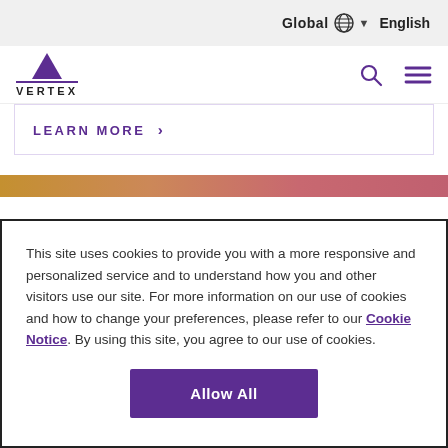Global English
[Figure (logo): Vertex Pharmaceuticals logo with purple triangle above text VERTEX]
LEARN MORE →
[Figure (other): Horizontal gradient bar transitioning from golden orange on the left to rose/pink on the right]
This site uses cookies to provide you with a more responsive and personalized service and to understand how you and other visitors use our site. For more information on our use of cookies and how to change your preferences, please refer to our Cookie Notice. By using this site, you agree to our use of cookies.
Allow All